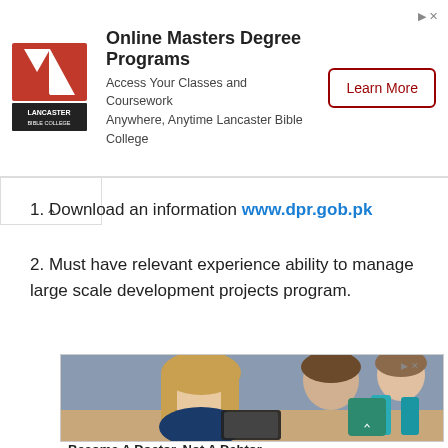[Figure (screenshot): Lancaster Bible College advertisement banner with logo, title 'Online Masters Degree Programs', subtitle text, and Learn More button]
1. Download an information www.dpr.gob.pk
2. Must have relevant experience ability to manage large scale development projects program.
[Figure (photo): Students in a lecture hall, a female student in the foreground smiling and writing with a stylus on a tablet, other students visible in background]
Become A Doctor, Not A Debtor